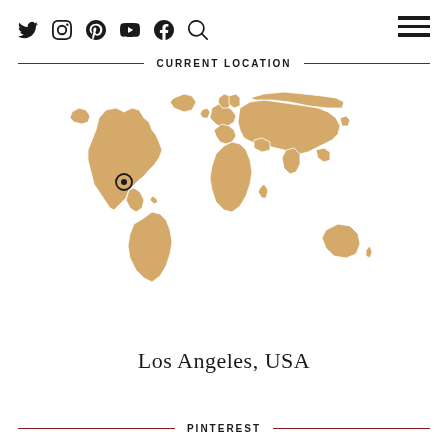Social media icons: Twitter, Instagram, Pinterest, YouTube, Facebook, Search; Hamburger menu
CURRENT LOCATION
[Figure (map): World map in tan/beige color with a location marker pin on Los Angeles, USA (west coast of North America)]
Los Angeles, USA
PINTEREST